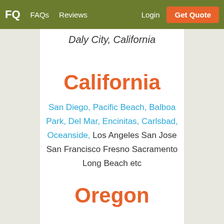FQ  FAQs  Reviews  Login  Get Quote
Daly City, California
California
San Diego, Pacific Beach, Balboa Park, Del Mar, Encinitas, Carlsbad, Oceanside, Los Angeles San Jose San Francisco Fresno Sacramento Long Beach etc
Oregon